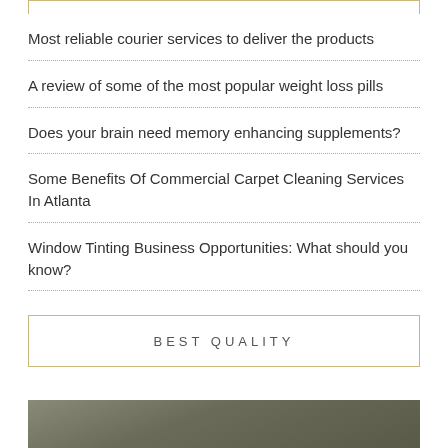Most reliable courier services to deliver the products
A review of some of the most popular weight loss pills
Does your brain need memory enhancing supplements?
Some Benefits Of Commercial Carpet Cleaning Services In Atlanta
Window Tinting Business Opportunities: What should you know?
BEST QUALITY
[Figure (photo): Dark olive/khaki colored background photo, partially visible at bottom of page]